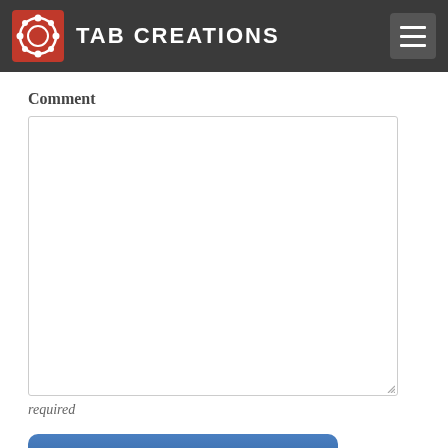TAB CREATIONS
Comment
required
Post Comment
Other News from the Tab Bl...